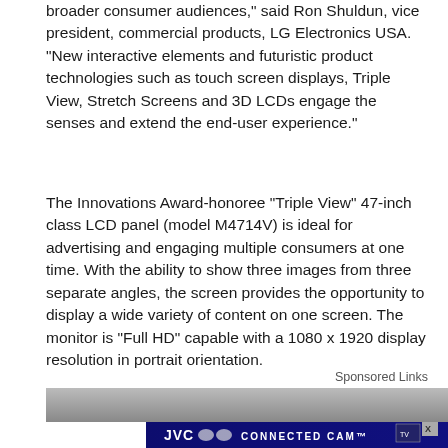broader consumer audiences, said Ron Shuldun, vice president, commercial products, LG Electronics USA. "New interactive elements and futuristic product technologies such as touch screen displays, Triple View, Stretch Screens and 3D LCDs engage the senses and extend the end-user experience."
The Innovations Award-honoree "Triple View" 47-inch class LCD panel (model M4714V) is ideal for advertising and engaging multiple consumers at one time. With the ability to show three images from three separate angles, the screen provides the opportunity to display a wide variety of content on one screen. The monitor is "Full HD" capable with a 1080 x 1920 display resolution in portrait orientation.
Sponsored Links
[Figure (photo): Gray banner image partially showing at the top, and a JVC Connected Cam advertisement banner at the bottom of the page]